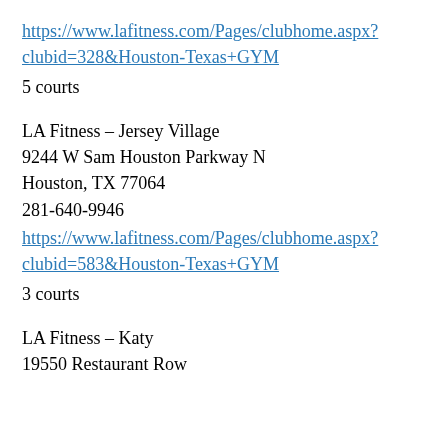https://www.lafitness.com/Pages/clubhome.aspx?clubid=328&Houston-Texas+GYM
5 courts
LA Fitness – Jersey Village
9244 W Sam Houston Parkway N
Houston, TX 77064
281-640-9946
https://www.lafitness.com/Pages/clubhome.aspx?clubid=583&Houston-Texas+GYM
3 courts
LA Fitness – Katy
19550 Restaurant Row